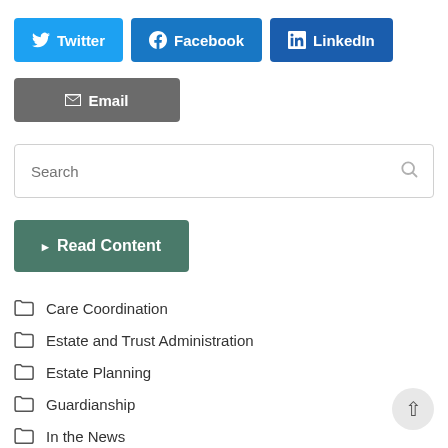[Figure (infographic): Social share buttons: Twitter (light blue), Facebook (blue), LinkedIn (dark blue), Email (grey)]
[Figure (infographic): Search input box with placeholder text 'Search' and a magnifying glass icon on the right]
[Figure (infographic): Green 'Read Content' button with arrow icon]
Care Coordination
Estate and Trust Administration
Estate Planning
Guardianship
In the News
Long-Term Care Planning